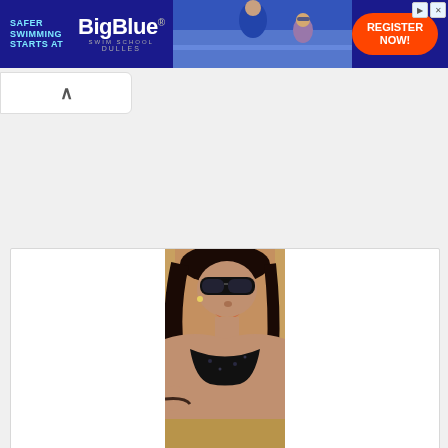[Figure (infographic): BigBlue Swim School advertisement banner. Dark blue background with cyan text 'SAFER SWIMMING STARTS AT' on left, BigBlue Swim School logo in white, DULLES text, photo of swim instructor with child, and red oval 'REGISTER NOW!' button on right.]
[Figure (photo): A woman with dark hair wearing large black sunglasses and a black sequined bikini top, lying down in a glamorous swimwear advertisement pose.]